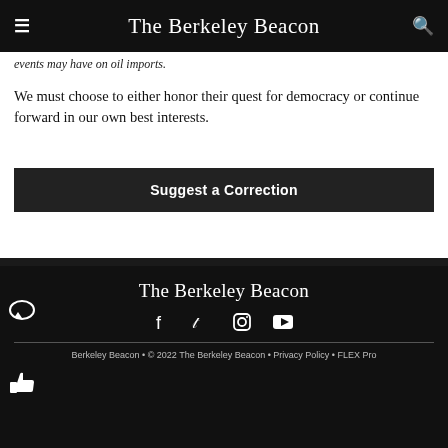The Berkeley Beacon
events may have on oil imports.
We must choose to either honor their quest for democracy or continue forward in our own best interests.
Suggest a Correction
Leave a Comment
The Berkeley Beacon
Berkeley Beacon • © 2022 The Berkeley Beacon • Privacy Policy • FLEX Pro